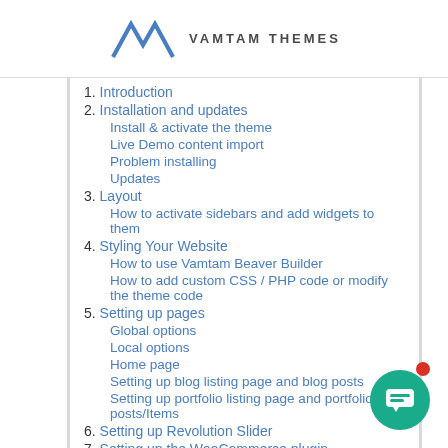VAMTAM THEMES
1. Introduction
2. Installation and updates
Install & activate the theme
Live Demo content import
Problem installing
Updates
3. Layout
How to activate sidebars and add widgets to them
4. Styling Your Website
How to use Vamtam Beaver Builder
How to add custom CSS / PHP code or modify the theme code
5. Setting up pages
Global options
Local options
Home page
Setting up blog listing page and blog posts
Setting up portfolio listing page and portfolio posts/Items
6. Setting up Revolution Slider
7. Setting up the WooCommerce plugin
8. Setting up Ninja Forms Plugin